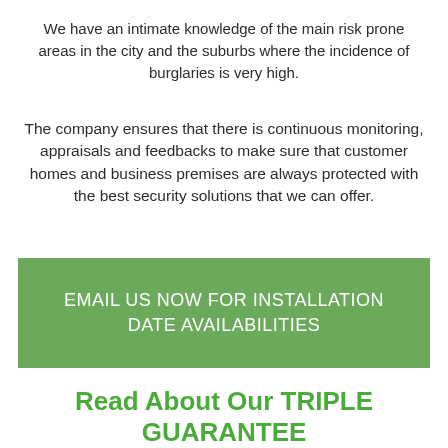We have an intimate knowledge of the main risk prone areas in the city and the suburbs where the incidence of burglaries is very high.
The company ensures that there is continuous monitoring, appraisals and feedbacks to make sure that customer homes and business premises are always protected with the best security solutions that we can offer.
EMAIL US NOW FOR INSTALLATION DATE AVAILABILITIES
Read About Our TRIPLE GUARANTEE